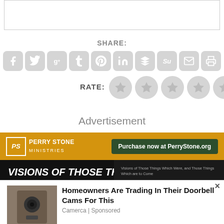[Figure (screenshot): Top empty bordered box (likely a comment/content box)]
SHARE:
[Figure (infographic): Row of 10 social sharing icon buttons (Facebook, Twitter, Google+, Tumblr, Pinterest, LinkedIn, Buffer, StumbleUpon, Email, Print)]
RATE:
[Figure (infographic): Five grey star rating circles]
Advertisement
[Figure (infographic): Perry Stone Ministries advertisement banner with logo and 'Purchase now at PerryStone.org' button]
[Figure (infographic): Black background ad section with 'VISIONS OF THOSE THINGS WHICH WERE,' text and book cover image]
[Figure (infographic): Sponsored content popup: 'Homeowners Are Trading In Their Doorbell Cams For This' by Camerca, with an image of a security camera and a close button]